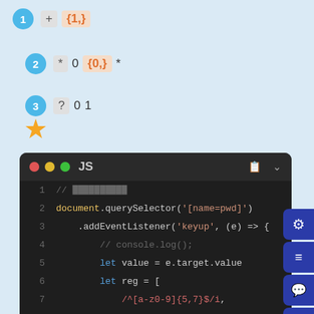1  +  {1,}
2  * 0  {0,}  *
3  ? 0 1
[Figure (illustration): Gold star icon]
[Figure (screenshot): JavaScript code editor showing code with document.querySelector, addEventListener, let value, let reg with regex patterns /^[a-z0-9]{5,7}$/i and /[A-Z]/, /[\d]/, let state = reg.every(v=>v.test(value)), and console.log(state?'':'');]